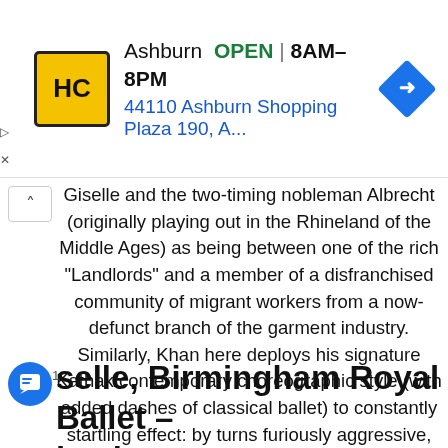[Figure (other): Advertisement banner for HC store in Ashburn — logo with 'HC' in yellow/black, text: 'Ashburn OPEN | 8AM–8PM', '44110 Ashburn Shopping Plaza 190, A...', and a blue navigation diamond icon]
Giselle and the two-timing nobleman Albrecht (originally playing out in the Rhineland of the Middle Ages) as being between one of the rich “Landlords” and a member of a disfranchised community of migrant workers from a now-defunct branch of the garment industry. Similarly, Khan here deploys his signature Kathak/contemporary choreographic style (with added dashes of classical ballet) to constantly startling effect: by turns furiously aggressive, eye-poppingly amorous, and as mechanical-looking as an enormous industrial loom. – The Telegraph
1
Giselle, Birmingham Royal Ballet – backstage